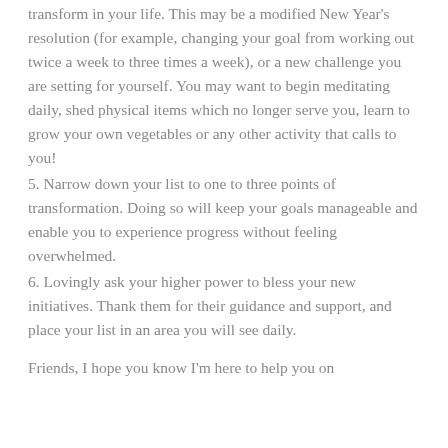transform in your life. This may be a modified New Year's resolution (for example, changing your goal from working out twice a week to three times a week), or a new challenge you are setting for yourself. You may want to begin meditating daily, shed physical items which no longer serve you, learn to grow your own vegetables or any other activity that calls to you!
5. Narrow down your list to one to three points of transformation. Doing so will keep your goals manageable and enable you to experience progress without feeling overwhelmed.
6. Lovingly ask your higher power to bless your new initiatives. Thank them for their guidance and support, and place your list in an area you will see daily.
Friends, I hope you know I'm here to help you on